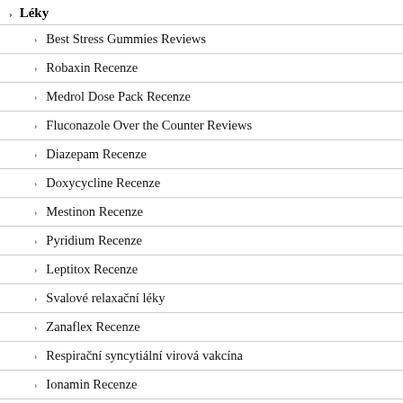Léky
Best Stress Gummies Reviews
Robaxin Recenze
Medrol Dose Pack Recenze
Fluconazole Over the Counter Reviews
Diazepam Recenze
Doxycycline Recenze
Mestinon Recenze
Pyridium Recenze
Leptitox Recenze
Svalové relaxační léky
Zanaflex Recenze
Respirační syncytiální virová vakcína
Ionamin Recenze